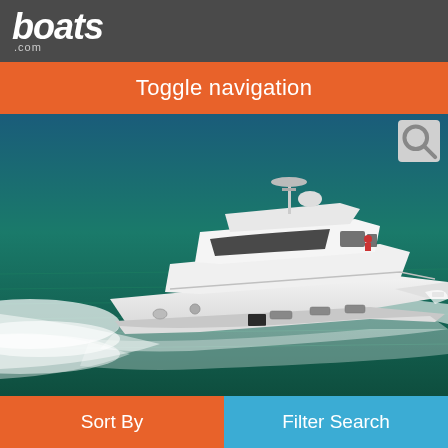boats.com
Toggle navigation
[Figure (photo): White Ferretti Yachts 731 motor yacht cruising at speed on dark blue-green water, viewed from port side, with white bow wake]
Ferretti Yachts 731
Istanbul, Turkey
2007
$1,025,169
Sort By | Filter Search